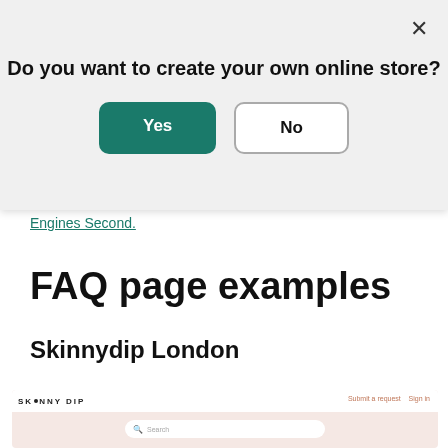Do you want to create your own online store?
Yes | No
Engines Second.
FAQ page examples
Skinnydip London
[Figure (screenshot): Screenshot of Skinnydip London help center page with logo, Submit a request and Sign in links, and a pink search bar area.]